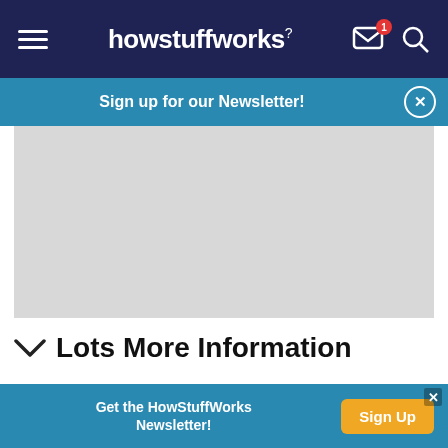howstuffworks
Sign up for our Newsletter!
[Figure (other): Gray advertisement placeholder box]
Lots More Information
Related HowStuffWorks Articles
Get the HowStuffWorks Newsletter! Sign Up